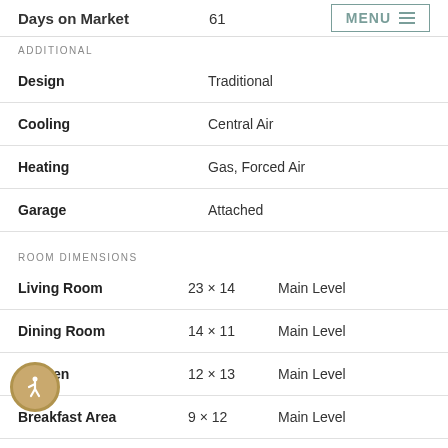| Field | Value |
| --- | --- |
| Days on Market | 61 |
ADDITIONAL
| Field | Value |
| --- | --- |
| Design | Traditional |
| Cooling | Central Air |
| Heating | Gas, Forced Air |
| Garage | Attached |
ROOM DIMENSIONS
| Room | Dimensions | Level |
| --- | --- | --- |
| Living Room | 23 × 14 | Main Level |
| Dining Room | 14 × 11 | Main Level |
| Kitchen | 12 × 13 | Main Level |
| Breakfast Area | 9 × 12 | Main Level |
| Den | 9 × 7 | Main Level |
| Master Bedroom | 18 × 12 | Main Level |
| 2nd Bedroom | 14 × 10 | Main Level |
| 3rd Bedroom | 18 × 12 | Upper Level |